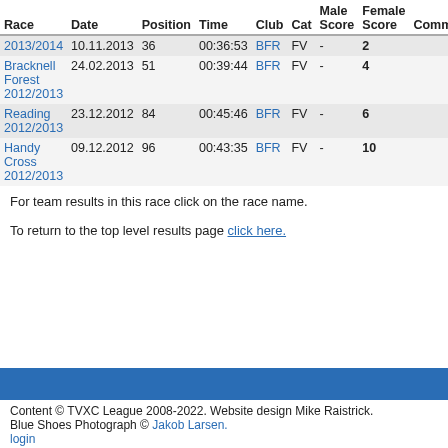| Race | Date | Position | Time | Club | Cat | Male Score | Female Score | Comment |
| --- | --- | --- | --- | --- | --- | --- | --- | --- |
| 2013/2014 | 10.11.2013 | 36 | 00:36:53 | BFR | FV | - | 2 |
| Bracknell Forest 2012/2013 | 24.02.2013 | 51 | 00:39:44 | BFR | FV | - | 4 |
| Reading 2012/2013 | 23.12.2012 | 84 | 00:45:46 | BFR | FV | - | 6 |
| Handy Cross 2012/2013 | 09.12.2012 | 96 | 00:43:35 | BFR | FV | - | 10 |
For team results in this race click on the race name.
To return to the top level results page click here.
Content © TVXC League 2008-2022. Website design Mike Raistrick. Blue Shoes Photograph © Jakob Larsen. login